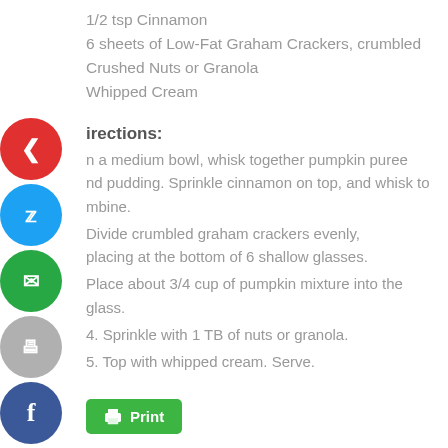1/2 tsp Cinnamon
6 sheets of Low-Fat Graham Crackers, crumbled
Crushed Nuts or Granola
Whipped Cream
Directions:
In a medium bowl, whisk together pumpkin puree and pudding. Sprinkle cinnamon on top, and whisk to combine.
Divide crumbled graham crackers evenly, placing at the bottom of 6 shallow glasses.
Place about 3/4 cup of pumpkin mixture into the glass.
4. Sprinkle with 1 TB of nuts or granola.
5. Top with whipped cream. Serve.